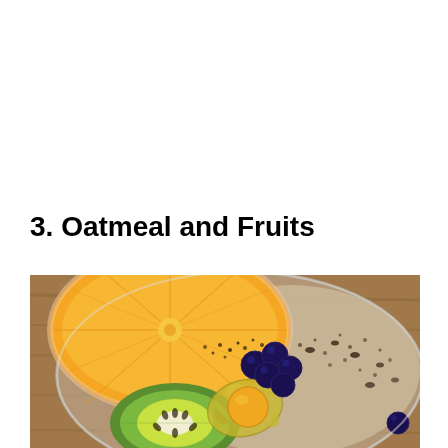3. Oatmeal and Fruits
[Figure (photo): A glass bowl of oatmeal topped with assorted fruits including an orange slice, kiwi, blueberries, physalis (cape gooseberry), and chia seeds, photographed from above on a wooden surface.]